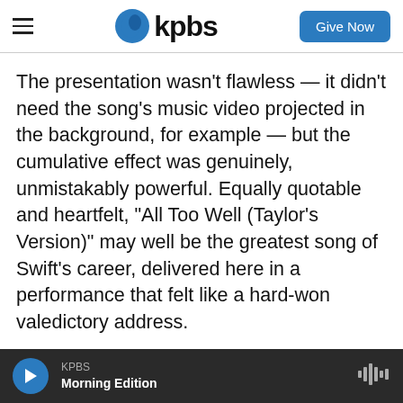KPBS — Give Now
The presentation wasn't flawless — it didn't need the song's music video projected in the background, for example — but the cumulative effect was genuinely, unmistakably powerful. Equally quotable and heartfelt, "All Too Well (Taylor's Version)" may well be the greatest song of Swift's career, delivered here in a performance that felt like a hard-won valedictory address.
Copyright 2022 NPR. To see more, visit https://www.npr.org.
KPBS Morning Edition